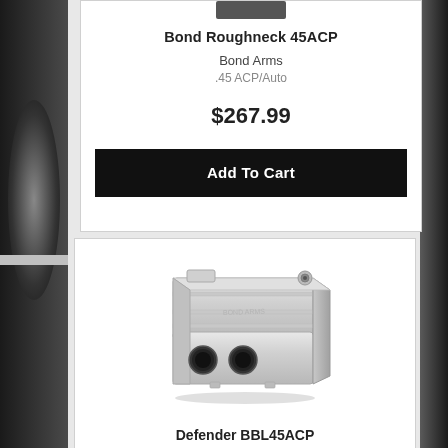[Figure (photo): Partial product image of Bond Roughneck 45ACP firearm at top]
Bond Roughneck 45ACP
Bond Arms
.45 ACP/Auto
$267.99
Add To Cart
[Figure (photo): Photo of Defender BBL45ACP double-barrel pistol barrel assembly in silver/stainless finish, viewed from the front-left angle showing two barrel holes]
Defender BBL45ACP